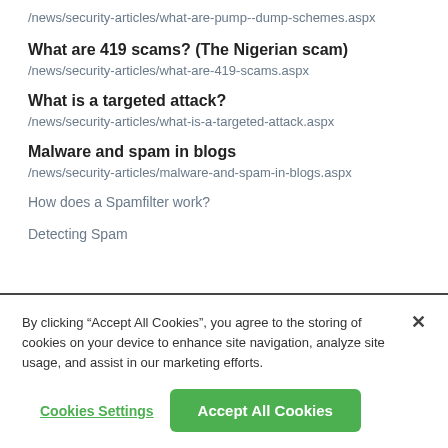/news/security-articles/what-are-pump--dump-schemes.aspx
What are 419 scams? (The Nigerian scam)
/news/security-articles/what-are-419-scams.aspx
What is a targeted attack?
/news/security-articles/what-is-a-targeted-attack.aspx
Malware and spam in blogs
/news/security-articles/malware-and-spam-in-blogs.aspx
How does a Spamfilter work?
Detecting Spam
By clicking “Accept All Cookies”, you agree to the storing of cookies on your device to enhance site navigation, analyze site usage, and assist in our marketing efforts.
Cookies Settings
Accept All Cookies